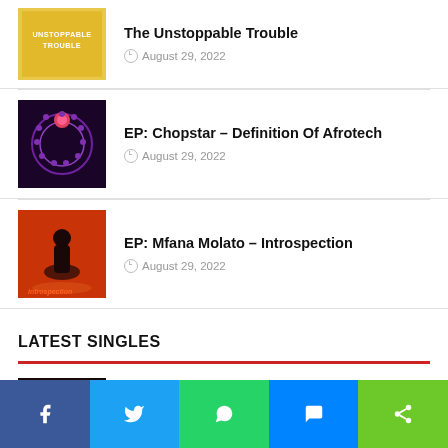The Unstoppable Trouble
August 29, 2022
EP: Chopstar – Definition Of Afrotech
August 29, 2022
EP: Mfana Molato – Introspection
August 29, 2022
LATEST SINGLES
DeMajor – Khululeka ft. Andile AfroBoy
August 31, 2022